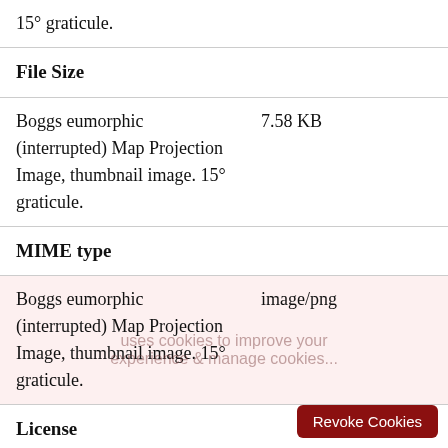| 15° graticule. |  |
| File Size |  |
| Boggs eumorphic (interrupted) Map Projection Image, thumbnail image. 15° graticule. | 7.58 KB |
| MIME type |  |
| Boggs eumorphic (interrupted) Map Projection Image, thumbnail image. 15° graticule. | image/png |
| License |  |